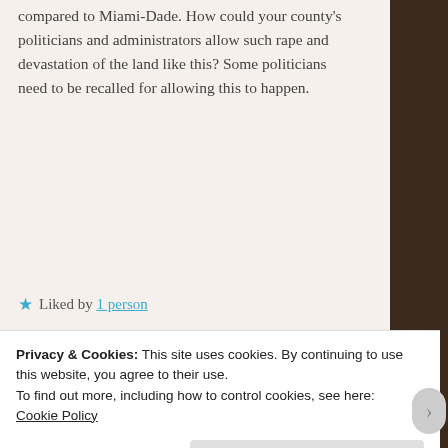compared to Miami-Dade. How could your county's politicians and administrators allow such rape and devastation of the land like this? Some politicians need to be recalled for allowing this to happen.
★ Liked by 1 person
Reply
cyndilenz says: January 4, 2016 at 3:14 am
Agreed. There are many
Privacy & Cookies: This site uses cookies. By continuing to use this website, you agree to their use. To find out more, including how to control cookies, see here: Cookie Policy
Close and accept